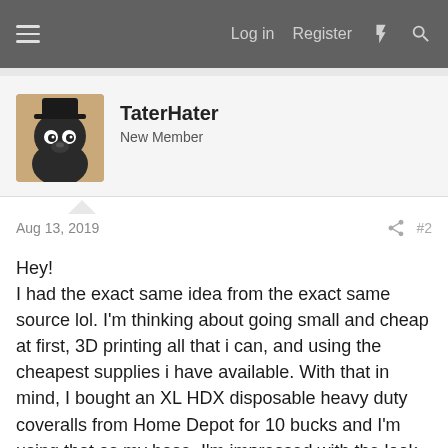Log in  Register
TaterHater
New Member
Aug 13, 2019  #2
Hey!
I had the exact same idea from the exact same source lol. I'm thinking about going small and cheap at first, 3D printing all that i can, and using the cheapest supplies i have available. With that in mind, I bought an XL HDX disposable heavy duty coveralls from Home Depot for 10 bucks and I'm using that as my base. I'm impressed with the look of the material and really hope it handles being sewn and glued well.

I am thinking about skipping the bubble helmet too and am looking for ideas for how to do the outer pieces only as well. I'm at a loss as well for the visor, but was thinking about building the shell with paper mache, then building off of that. Anyway, I